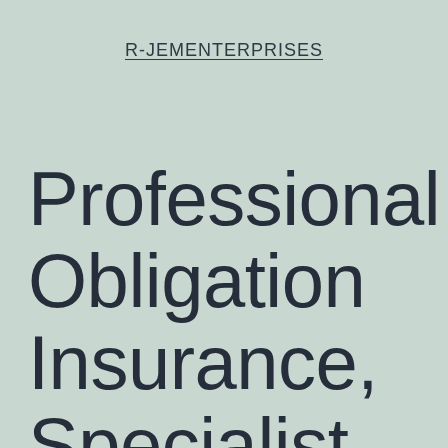R-JEMENTERPRISES
Professional Obligation Insurance, Specialist Indemnity